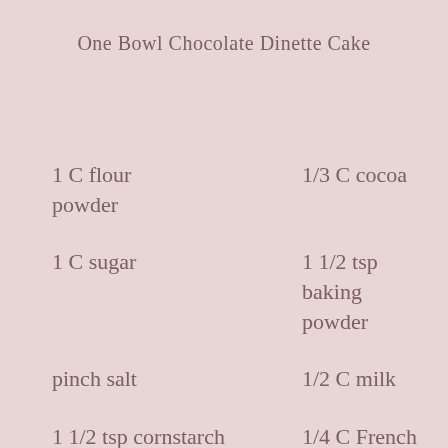One Bowl Chocolate Dinette Cake
1 C flour powder
1/3 C cocoa
1 C sugar
1 1/2 tsp baking powder
pinch salt
1/2 C milk
1 1/2 tsp cornstarch
1/4 C French Vanilla Creamer